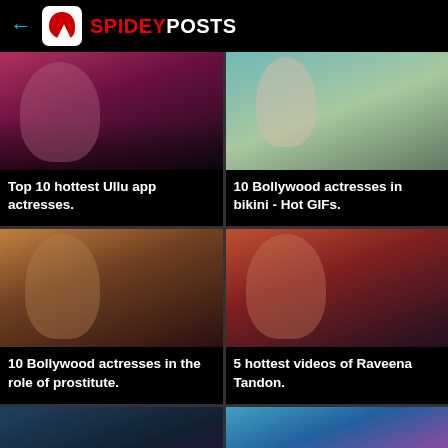SPIDEYPOSTS
[Figure (photo): Woman in pink top, dark hair]
Top 10 hottest Ullu app actresses.
[Figure (photo): Woman in white top with arms raised]
10 Bollywood actresses in bikini - Hot GIFs.
[Figure (photo): Woman in dark top, brown hair]
10 Bollywood actresses in the role of prostitute.
[Figure (photo): Woman in orange/red top]
5 hottest videos of Raveena Tandon.
[Figure (photo): Partially visible image bottom left]
[Figure (photo): Partially visible image bottom right]